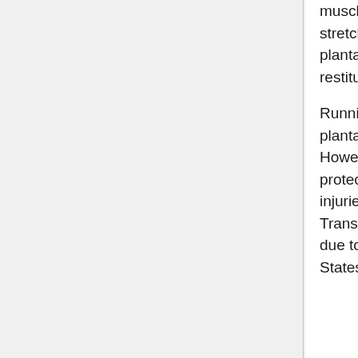muscle elasticity. In fact, reduction of contact time and higher pre-stretch level can enhance the stretch shortening cycle behavior of the plantar flexor muscles and thus possibly allow a better storage and restitution of elastic energy compared to shod running.
Running in shoes also appears to increase the risk of ankle sprains, plantar fasciitis, as well as other chronic injuries of the lower limb. However, running shoes also provide several advantages, including protection of the runner from puncture wounds, bruising, thermal injuries from extreme weather conditions, and overuse injuries. Transitioning to a barefoot running style also takes time to develop, due to the use of different muscles involved. Doctors in the United States have